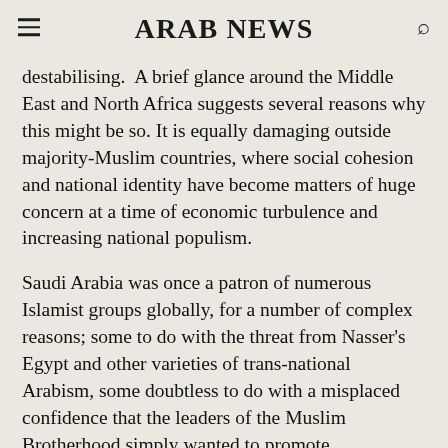ARAB NEWS
destabilising. A brief glance around the Middle East and North Africa suggests several reasons why this might be so. It is equally damaging outside majority-Muslim countries, where social cohesion and national identity have become matters of huge concern at a time of economic turbulence and increasing national populism.
Saudi Arabia was once a patron of numerous Islamist groups globally, for a number of complex reasons; some to do with the threat from Nasser's Egypt and other varieties of trans-national Arabism, some doubtless to do with a misplaced confidence that the leaders of the Muslim Brotherhood simply wanted to promote